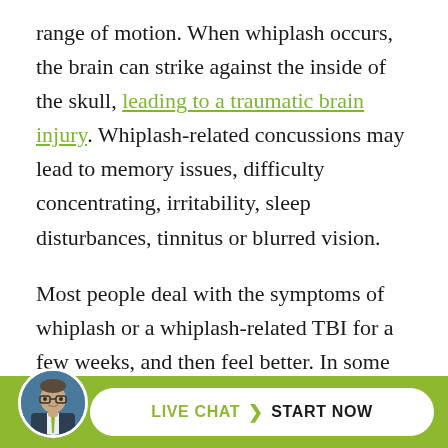range of motion. When whiplash occurs, the brain can strike against the inside of the skull, leading to a traumatic brain injury. Whiplash-related concussions may lead to memory issues, difficulty concentrating, irritability, sleep disturbances, tinnitus or blurred vision.
Most people deal with the symptoms of whiplash or a whiplash-related TBI for a few weeks, and then feel better. In some rare cases, however, the effects of whiplash can be long-term. As such, it is important to monitor someone who has suffered from whiplash to assess if there is a risk of these complications at the
[Figure (other): Live chat call-to-action bar with attorney avatar photo, pill-shaped button with 'LIVE CHAT > START NOW' text on olive green background]